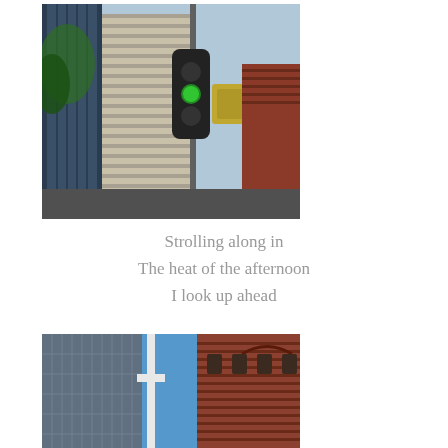[Figure (photo): Upward-looking photograph of city street scene with tall skyscrapers, green traffic light, and brick buildings on a sunny day]
Strolling along in
The heat of the afternoon
I look up ahead
[Figure (photo): Upward-looking photograph of city buildings including a modern glass tower on the left and a red brick building on the right against a blue sky]